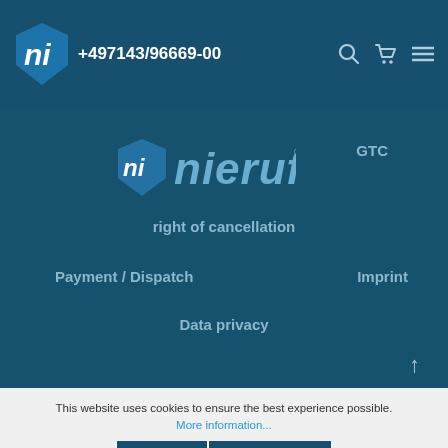+497143/96669-00
[Figure (logo): nieruf brand logo - white stylized 'ni' letters on blue shield/hexagon mark, plus full 'nieruf' wordmark in light blue text with registered trademark symbol]
GTC
right of cancellation
Payment / Dispatch
Imprint
Data privacy
This website uses cookies to ensure the best experience possible.
More information...
Deny
Configure
Accept all cookies